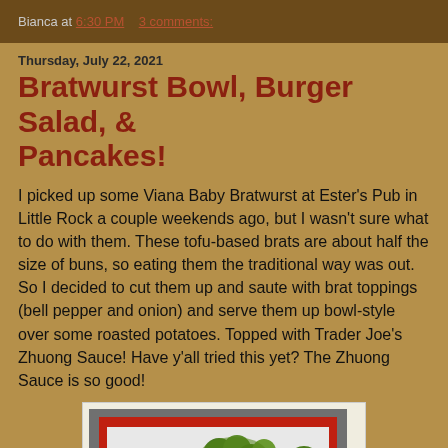Bianca at 6:30 PM    3 comments:
Thursday, July 22, 2021
Bratwurst Bowl, Burger Salad, & Pancakes!
I picked up some Viana Baby Bratwurst at Ester's Pub in Little Rock a couple weekends ago, but I wasn't sure what to do with them. These tofu-based brats are about half the size of buns, so eating them the traditional way was out. So I decided to cut them up and saute with brat toppings (bell pepper and onion) and serve them up bowl-style over some roasted potatoes. Topped with Trader Joe's Zhuong Sauce! Have y'all tried this yet? The Zhuong Sauce is so good!
[Figure (photo): A photo of a bratwurst bowl with sauteed vegetables including broccoli and mushrooms in a white dish with red trim, topped with green sauce, on a gray surface.]